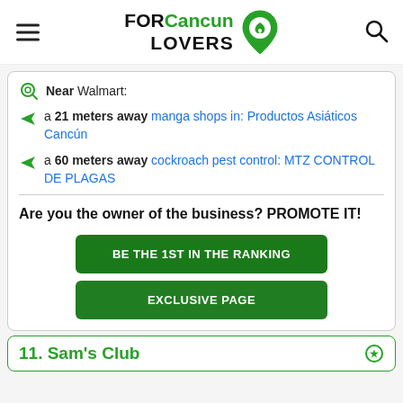FOR Cancun LOVERS
Near Walmart:
a 21 meters away manga shops in: Productos Asiáticos Cancún
a 60 meters away cockroach pest control: MTZ CONTROL DE PLAGAS
Are you the owner of the business? PROMOTE IT!
BE THE 1ST IN THE RANKING
EXCLUSIVE PAGE
11. Sam's Club